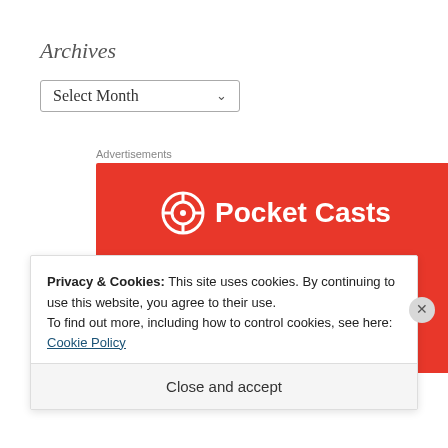Archives
Select Month
Advertisements
[Figure (logo): Pocket Casts advertisement banner with red background, Pocket Casts logo and text 'An app by']
Privacy & Cookies: This site uses cookies. By continuing to use this website, you agree to their use.
To find out more, including how to control cookies, see here: Cookie Policy
Close and accept